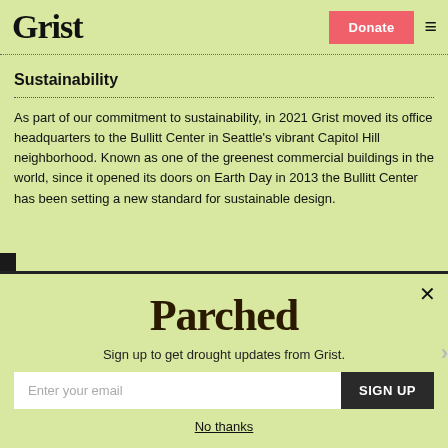Grist — Donate [button] — Menu [hamburger]
Sustainability
As part of our commitment to sustainability, in 2021 Grist moved its office headquarters to the Bullitt Center in Seattle's vibrant Capitol Hill neighborhood. Known as one of the greenest commercial buildings in the world, since it opened its doors on Earth Day in 2013 the Bullitt Center has been setting a new standard for sustainable design.
Parched
Sign up to get drought updates from Grist.
Enter your email
SIGN UP
No thanks